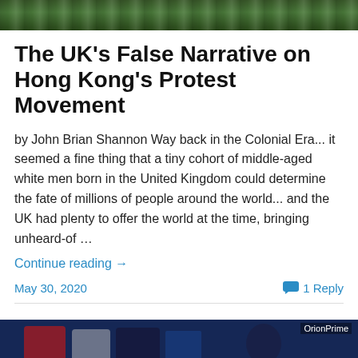[Figure (photo): Top portion of an image showing a protest crowd scene with green/outdoor background]
The UK's False Narrative on Hong Kong's Protest Movement
by John Brian Shannon Way back in the Colonial Era... it seemed a fine thing that a tiny cohort of middle-aged white men born in the United Kingdom could determine the fate of millions of people around the world... and the UK had plenty to offer the world at the time, bringing unheard-of …
Continue reading →
May 30, 2020
1 Reply
[Figure (photo): Bottom image showing a person at a podium with colorful signs/banners in blue, red and other colors, with OrionPrime watermark]